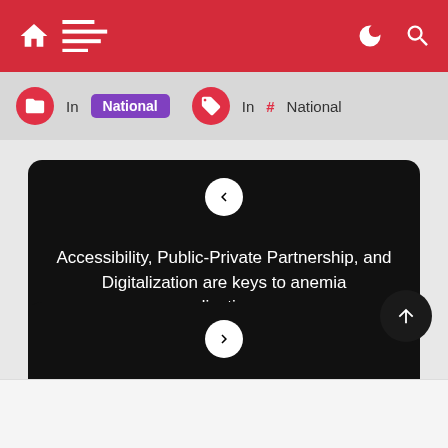Navigation bar with home, menu, dark mode, and search icons
In National | In # National
Accessibility, Public-Private Partnership, and Digitalization are keys to anemia eradication:…
SingJohn: Why 2022 Would Be A Year Of Quality Plagiarism-Free Content?